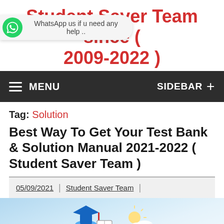Student Saver Team since ( 2009-2022 )
WhatsApp us if u need any help ..
MENU   SIDEBAR +
Tag: Solution
Best Way To Get Your Test Bank & Solution Manual 2021-2022 ( Student Saver Team )
05/09/2021 | Student Saver Team |
[Figure (illustration): Partial view of an educational illustration with graduation cap and book icons on a light blue background]